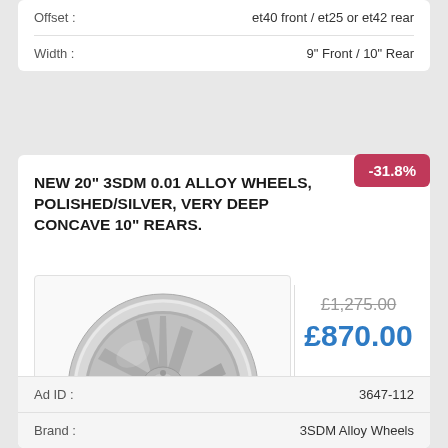| Property | Value |
| --- | --- |
| Offset : | et40 front / et25 or et42 rear |
| Width : | 9" Front / 10" Rear |
NEW 20" 3SDM 0.01 ALLOY WHEELS, POLISHED/SILVER, VERY DEEP CONCAVE 10" REARS.
[Figure (photo): Silver polished alloy wheel with multi-spoke deep concave design, 3SDM 0.01 style]
-31.8%
£1,275.00
£870.00
| Property | Value |
| --- | --- |
| Ad ID : | 3647-112 |
| Brand : | 3SDM Alloy Wheels |